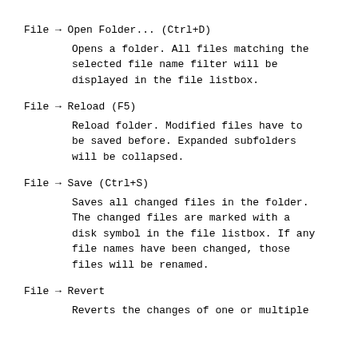File → Open Folder... (Ctrl+D)
Opens a folder. All files matching the selected file name filter will be displayed in the file listbox.
File → Reload (F5)
Reload folder. Modified files have to be saved before. Expanded subfolders will be collapsed.
File → Save (Ctrl+S)
Saves all changed files in the folder. The changed files are marked with a disk symbol in the file listbox. If any file names have been changed, those files will be renamed.
File → Revert
Reverts the changes of one or multiple